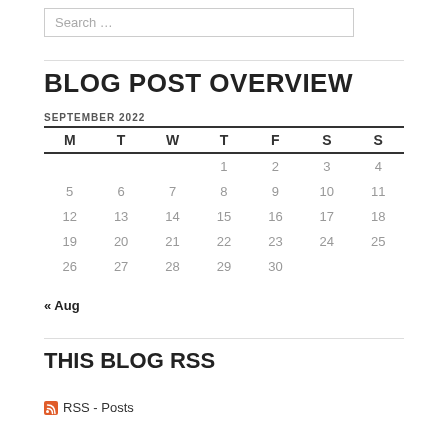Search …
BLOG POST OVERVIEW
SEPTEMBER 2022
| M | T | W | T | F | S | S |
| --- | --- | --- | --- | --- | --- | --- |
|  |  |  | 1 | 2 | 3 | 4 |
| 5 | 6 | 7 | 8 | 9 | 10 | 11 |
| 12 | 13 | 14 | 15 | 16 | 17 | 18 |
| 19 | 20 | 21 | 22 | 23 | 24 | 25 |
| 26 | 27 | 28 | 29 | 30 |  |  |
« Aug
THIS BLOG RSS
RSS - Posts